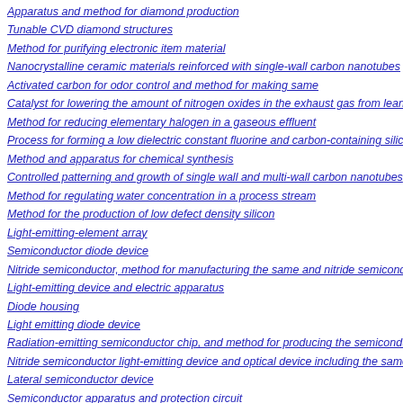Apparatus and method for diamond production
Tunable CVD diamond structures
Method for purifying electronic item material
Nanocrystalline ceramic materials reinforced with single-wall carbon nanotubes
Activated carbon for odor control and method for making same
Catalyst for lowering the amount of nitrogen oxides in the exhaust gas from lean bu...
Method for reducing elementary halogen in a gaseous effluent
Process for forming a low dielectric constant fluorine and carbon-containing silicon
Method and apparatus for chemical synthesis
Controlled patterning and growth of single wall and multi-wall carbon nanotubes
Method for regulating water concentration in a process stream
Method for the production of low defect density silicon
Light-emitting-element array
Semiconductor diode device
Nitride semiconductor, method for manufacturing the same and nitride semiconduc...
Light-emitting device and electric apparatus
Diode housing
Light emitting diode device
Radiation-emitting semiconductor chip, and method for producing the semiconduct...
Nitride semiconductor light-emitting device and optical device including the same
Lateral semiconductor device
Semiconductor apparatus and protection circuit
Optical semiconductor device and method of fabricating the same
BJT device configuration and fabrication method with reduced emitter width
Stress control of semiconductor microstructures for thin film growth
Polysilicon capacitor having large capacitance and low resistance
Ferroelectric memory integrated circuit with improved reliability
Semiconductor memory having a pillar type trench dram cell
Semiconductor device and method for manufacturing the same
ESD protection devices and methods to reduce trigger voltage
High aspect ratio contact structure with reduced silicon consumption
Photodetector circuit
Photonic crystals and devices having tunability and switchability
Single molecule realization of the switch and doide combination
System and method for generating external counterpulsation reports
Wide bandwidth phase-locked loop circuit
Ultrasonic picture processing method and ultrasonic picture processing apparatus
ER3+ doped boro-tellurite glasses for 1.5 .mu.m broadband amplification